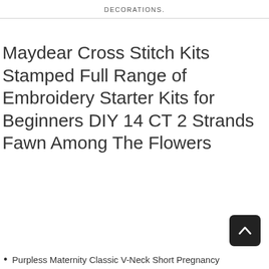DECORATIONS.
Maydear Cross Stitch Kits Stamped Full Range of Embroidery Starter Kits for Beginners DIY 14 CT 2 Strands Fawn Among The Flowers
Purpless Maternity Classic V-Neck Short Pregnancy